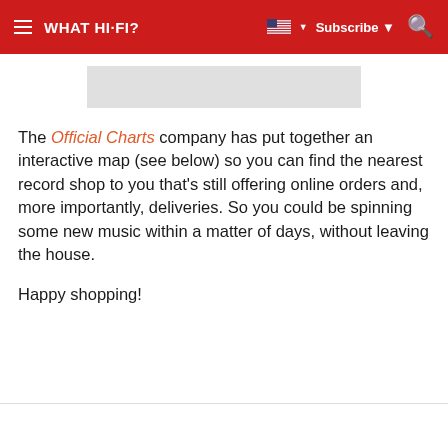WHAT HI-FI? | Subscribe
[Figure (other): Gray rectangular image placeholder banner]
The Official Charts company has put together an interactive map (see below) so you can find the nearest record shop to you that's still offering online orders and, more importantly, deliveries. So you could be spinning some new music within a matter of days, without leaving the house.
Happy shopping!